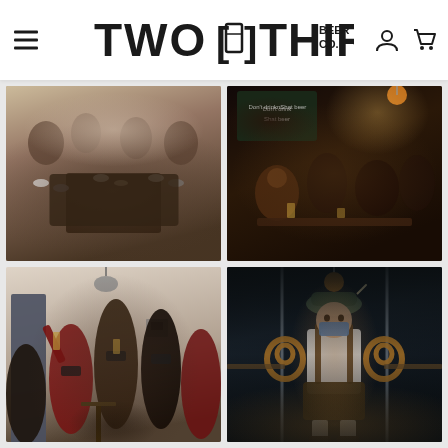Two Thirds Beer Co. — navigation header with hamburger menu, logo, user icon, and cart icon
[Figure (photo): Overhead view of a group of people sitting on stairs or a floor, looking up at the camera]
[Figure (photo): Busy bar scene with people socializing at tables; a chalkboard sign on the wall reads 'Don't drink Shat beer']
[Figure (photo): Group of brewery staff wearing face masks, raising glasses and bottles in a taproom]
[Figure (photo): Person dressed in Bavarian Oktoberfest lederhosen outfit wearing a face mask and holding two large pretzels, standing in the brewery doorway]